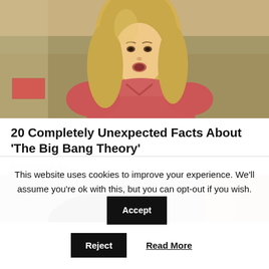[Figure (photo): A blonde woman in a pink shirt, appearing surprised or concerned, in what appears to be a TV show still from The Big Bang Theory.]
20 Completely Unexpected Facts About 'The Big Bang Theory'
BRAINBERRIES
[Figure (photo): Partial view of people, appears to be another still from The Big Bang Theory TV show.]
This website uses cookies to improve your experience. We'll assume you're ok with this, but you can opt-out if you wish.
Accept
Reject
Read More